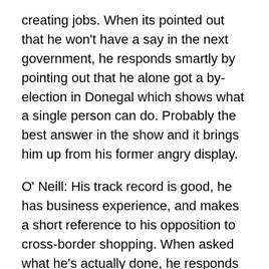creating jobs. When its pointed out that he won't have a say in the next government, he responds smartly by pointing out that he alone got a by-election in Donegal which shows what a single person can do. Probably the best answer in the show and it brings him up from his former angry display.
O' Neill: His track record is good, he has business experience, and makes a short reference to his opposition to cross-border shopping. When asked what he's actually done, he responds that he represents people on daily basis and on health services in the north-west. A little droning here and seemed to want to bring up stuff that wasn't relevant to the question.
McBrearty: Will fight for people of Donegal and Ireland. Says Cowen should be more honest about the state of the